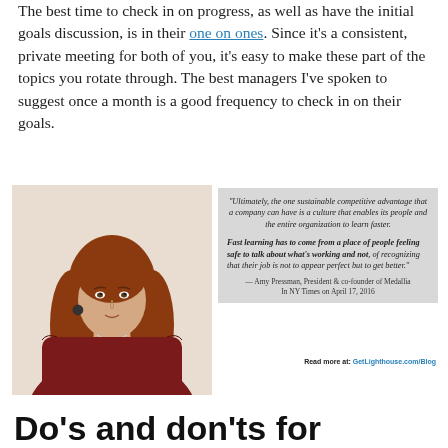The best time to check in on progress, as well as have the initial goals discussion, is in their one on ones. Since it's a consistent, private meeting for both of you, it's easy to make these part of the topics you rotate through. The best managers I've spoken to suggest once a month is a good frequency to check in on their goals.
[Figure (photo): Photo of a woman with red/auburn hair wearing a dark red top, standing against a white background.]
"Ultimately, the one sustainable competitive advantage that a company can have is a culture that enables its people and the entire organization to learn faster. Fast learning has to come from a place of people feeling safe to talk about what's working and not, of recognizing that their job is not to appear perfect but to get better." — Amy Pressman, President & co-founder of Medallia In NY Times on April 17, 2016
Read more at: GetLighthouse.com/Blog
Do's and don'ts for